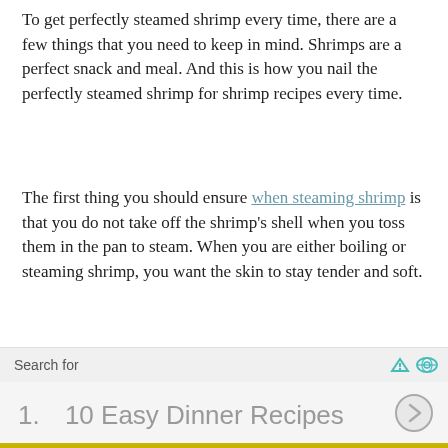To get perfectly steamed shrimp every time, there are a few things that you need to keep in mind. Shrimps are a perfect snack and meal. And this is how you nail the perfectly steamed shrimp for shrimp recipes every time.
The first thing you should ensure when steaming shrimp is that you do not take off the shrimp's shell when you toss them in the pan to steam. When you are either boiling or steaming shrimp, you want the skin to stay tender and soft.
That can only be ensured with the shells on. If you take off the shells, the steam will crumple the soft skin of the shrimp and overcook them. To steam the
[Figure (other): Advertisement bar with 'Search for' label, icons, and item '1. 10 Easy Dinner Recipes' with a chevron circle button]